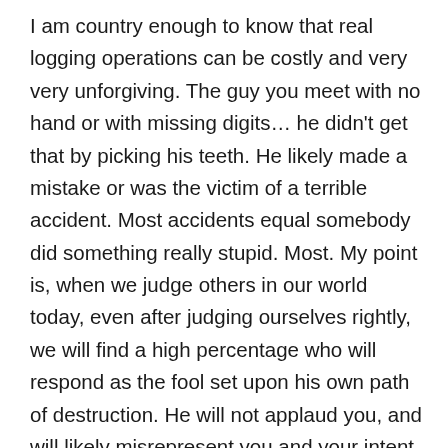I am country enough to know that real logging operations can be costly and very very unforgiving. The guy you meet with no hand or with missing digits… he didn't get that by picking his teeth. He likely made a mistake or was the victim of a terrible accident. Most accidents equal somebody did something really stupid. Most. My point is, when we judge others in our world today, even after judging ourselves rightly, we will find a high percentage who will respond as the fool set upon his own path of destruction. He will not applaud you, and will likely misrepresent you and your intent. The next thing Jesus discusses in this section is to not cast pearls before swine, or give what is holy to dogs. Rutrow. Deal with that as you will. He said it and we must wisely act upon it. There is inherent danger here. “They will tear you to pieces.” The goal of being holy is to be like and to please our Heavenly